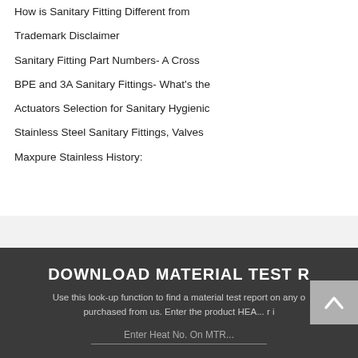How is Sanitary Fitting Different from
Trademark Disclaimer
Sanitary Fitting Part Numbers- A Cross
BPE and 3A Sanitary Fittings- What's the
Actuators Selection for Sanitary Hygienic
Stainless Steel Sanitary Fittings, Valves
Maxpure Stainless History:
DOWNLOAD MATERIAL TEST R
Use this look-up function to find a material test report on any o purchased from us. Enter the product HEA... r i
Enter Heat No. On MTR...